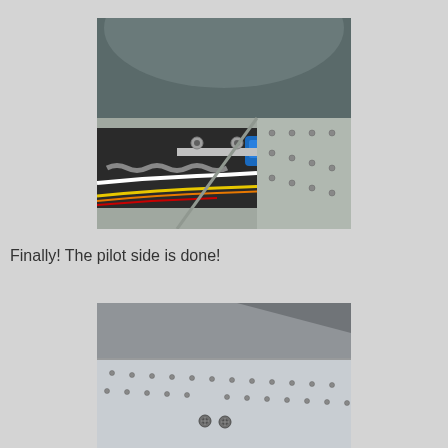[Figure (photo): Close-up photo of an aircraft interior panel area showing wiring (yellow, orange, red wires), a white cable, a corrugated metal conduit/cable, two bolts/screws on a metal bracket, a blue plastic clip or connector, and a riveted aluminum skin panel with multiple rivet holes.]
Finally! The pilot side is done!
[Figure (photo): Photo of the exterior of an aircraft fuselage showing riveted aluminum skin panels with rows of rivets, two visible screws/fasteners near the bottom center, and a diagonal structural element visible at top right.]